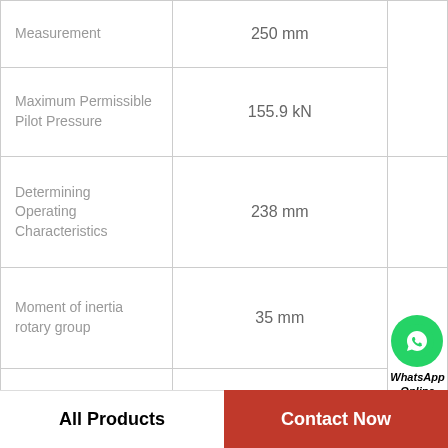| Parameter | Value |
| --- | --- |
| Measurement | 250 mm |
| Maximum Permissible Pilot Pressure | 155.9 kN |
| Determining Operating Characteristics | 238 mm |
| Moment of inertia rotary group | 35 mm |
| Rotary stiffness | 277.4 kN |
| Maximum rotational speed | 3 mm |
| Power | 258 mm |
All Products | Contact Now